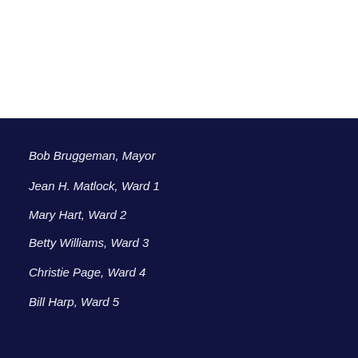Bob Bruggeman, Mayor
Jean H. Matlock, Ward 1
Mary Hart, Ward 2
Betty Williams, Ward 3
Christie Page, Ward 4
Bill Harp, Ward 5